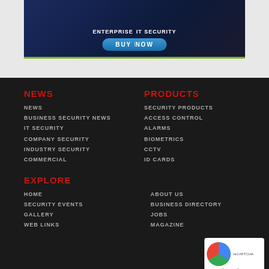[Figure (screenshot): Advertisement banner with dark blue background showing a BUY NOW button and a green bottom border]
NEWS
NEWS
BUSINESS SECURITY NEWS
IT SECURITY
COMPANY SECURITY
INDUSTRY SECURITY
COMMERCIAL
PRODUCTS
SECURITY PRODUCTS
ACCESS CONTROL
ALARMS
BIOMETRICS
CCTV
ID CARDS
EXPLORE
HOME
SECURITY EVENTS
GALLERY
WEB LINKS
ABOUT US
BUSINESS DIRECTORY
JOBS
MAGAZINE
[Figure (logo): reCAPTCHA badge with circular logo and Privacy - Terms text]